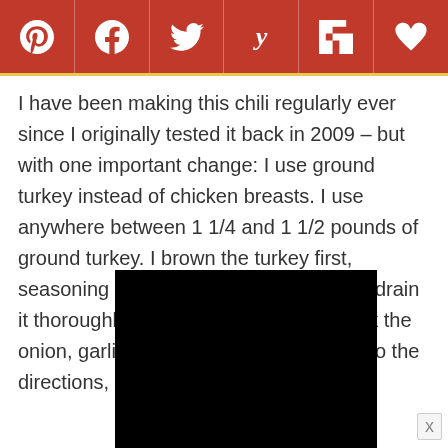[Figure (infographic): Social sharing toolbar with icons for Pinterest, Facebook, Twitter, Yummly, Flipboard, and a heart/save button on a dark red background with yellow-gold bottom border]
I have been making this chili regularly ever since I originally tested it back in 2009 – but with one important change: I use ground turkey instead of chicken breasts. I use anywhere between 1 1/4 and 1 1/2 pounds of ground turkey. I brown the turkey first, seasoning it with salt and pepper, then I drain it thoroughly and set it aside. After I cook the onion, garlic and seasonings according to the directions, I
[Figure (photo): Black rectangle representing a video or image embed area]